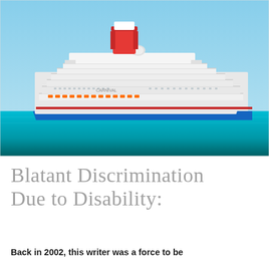[Figure (photo): Photograph of a large white Carnival cruise ship with a distinctive red and white funnel/smokestack, sailing on bright turquoise/blue water against a clear blue sky.]
Blatant Discrimination Due to Disability:
Back in 2002, this writer was a force to be